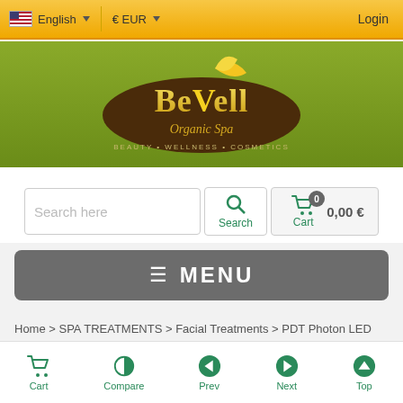English  €EUR  Login
[Figure (logo): BeVell Organic Spa logo - gold text on dark oval, green background, tagline: BEAUTY • WELLNESS • COSMETICS]
Search here  Search  Cart  0  0,00 €
≡ MENU
Home > SPA TREATMENTS > Facial Treatments > PDT Photon LED Facial Treatment
Cart  Compare  Prev  Next  Top